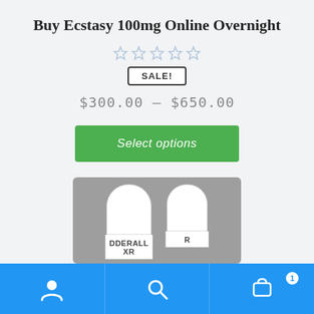Buy Ecstasy 100mg Online Overnight
[Figure (other): Five empty star rating icons in light blue/gray]
SALE!
$300.00 – $650.00
Select options
[Figure (photo): Two white capsule pills labeled ADDERALL XR on a gray background]
Navigation bar with user icon, search icon, and cart icon with badge showing 1